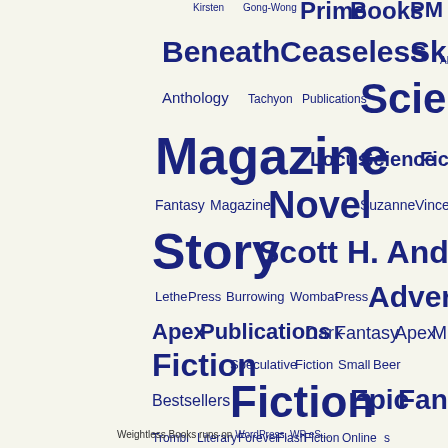[Figure (infographic): Word cloud featuring publishing and fiction-related terms in varying font sizes in dark blue/indigo on a cream background. Words include: Kirsten, Gong-Wong, Prime, Books, PM, Beneath, Ceaseless, Skies, Alien, Anthology, Tachyon, Publications, Science, Magazine, Locus, Science Fiction, Fantasy, Magazine, Novel, Suzanne, Vincent, Story, Scott H. Andrews (Ed.), Lethe Press, Burrowing, Wombat Press, Adventure, Apex Publications, Dark Fantasy, Apex M, Fiction, Speculative Fiction, Small Beer, Bestsellers, Fiction, Epic Fantasy, Trombi, Literary, Forever, Flash Fiction Online, Stories, Nonfiction, Adventure, Fantasy]
Weightless Books runs on WordPress, WP eS...